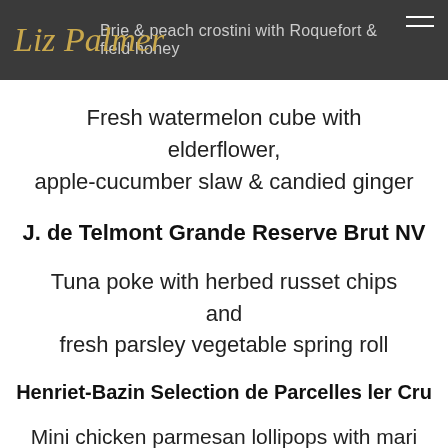Liz Palmer — Brie & peach crostini with Roquefort & field honey
Fresh watermelon cube with elderflower, apple-cucumber slaw & candied ginger
J. de Telmont Grande Reserve Brut NV
Tuna poke with herbed russet chips and fresh parsley vegetable spring roll
Henriet-Bazin Selection de Parcelles ler Cru
Mini chicken parmesan lollipops with mari dipping sauce